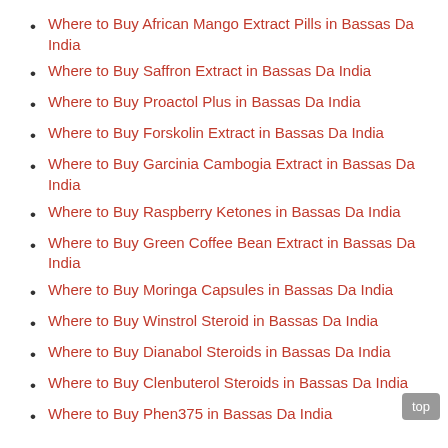Where to Buy African Mango Extract Pills in Bassas Da India
Where to Buy Saffron Extract in Bassas Da India
Where to Buy Proactol Plus in Bassas Da India
Where to Buy Forskolin Extract in Bassas Da India
Where to Buy Garcinia Cambogia Extract in Bassas Da India
Where to Buy Raspberry Ketones in Bassas Da India
Where to Buy Green Coffee Bean Extract in Bassas Da India
Where to Buy Moringa Capsules in Bassas Da India
Where to Buy Winstrol Steroid in Bassas Da India
Where to Buy Dianabol Steroids in Bassas Da India
Where to Buy Clenbuterol Steroids in Bassas Da India
Where to Buy Phen375 in Bassas Da India